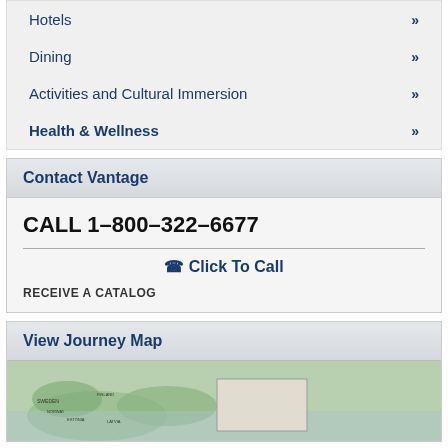Hotels »
Dining »
Activities and Cultural Immersion »
Health & Wellness »
Contact Vantage
CALL 1-800-322-6677
Click To Call
RECEIVE A CATALOG
View Journey Map
[Figure (map): Journey map showing European travel destinations]